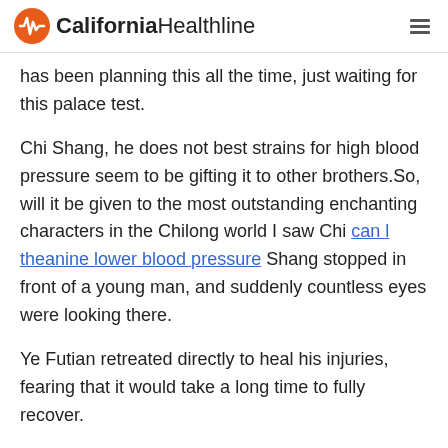California Healthline
has been planning this all the time, just waiting for this palace test.
Chi Shang, he does not best strains for high blood pressure seem to be gifting it to other brothers.So, will it be given to the most outstanding enchanting characters in the Chilong world I saw Chi can l theanine lower blood pressure Shang stopped in front of a young man, and suddenly countless eyes were looking there.
Ye Futian retreated directly to heal his injuries, fearing that it would take a long time to fully recover.
Now, the thing that everyone is deliberately observing...